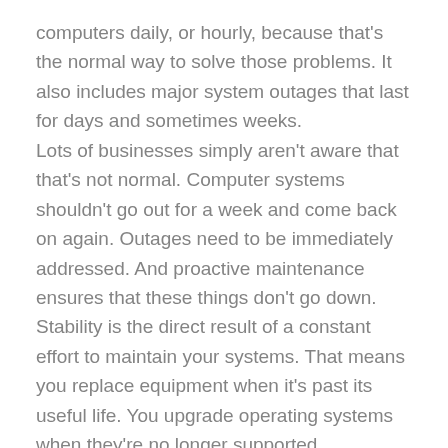computers daily, or hourly, because that's the normal way to solve those problems. It also includes major system outages that last for days and sometimes weeks.
Lots of businesses simply aren't aware that that's not normal. Computer systems shouldn't go out for a week and come back on again. Outages need to be immediately addressed. And proactive maintenance ensures that these things don't go down.
Stability is the direct result of a constant effort to maintain your systems. That means you replace equipment when it's past its useful life. You upgrade operating systems when they're no longer supported.
It's no different from changing the oil in your car. You can drive your car for a long, long time without changing the